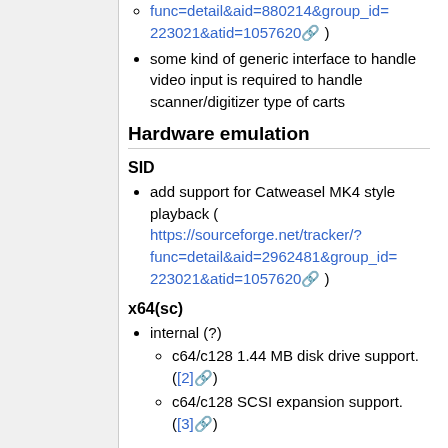func=detail&aid=880214&group_id=223021&atid=1057620 )
some kind of generic interface to handle video input is required to handle scanner/digitizer type of carts
Hardware emulation
SID
add support for Catweasel MK4 style playback ( https://sourceforge.net/tracker/?func=detail&aid=2962481&group_id=223021&atid=1057620 )
x64(sc)
internal (?)
c64/c128 1.44 MB disk drive support. ([2])
c64/c128 SCSI expansion support. ([3])